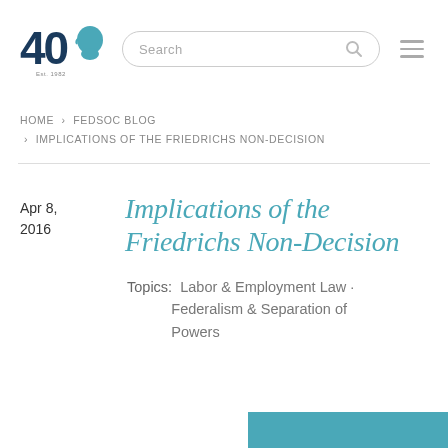[Figure (logo): Federalist Society 40th anniversary logo — bold '40' with a silhouette profile, teal/dark blue color, small text 'Est. 1982' beneath]
Search
HOME > FEDSOC BLOG > IMPLICATIONS OF THE FRIEDRICHS NON-DECISION
Implications of the Friedrichs Non-Decision
Apr 8, 2016
Topics: Labor & Employment Law · Federalism & Separation of Powers